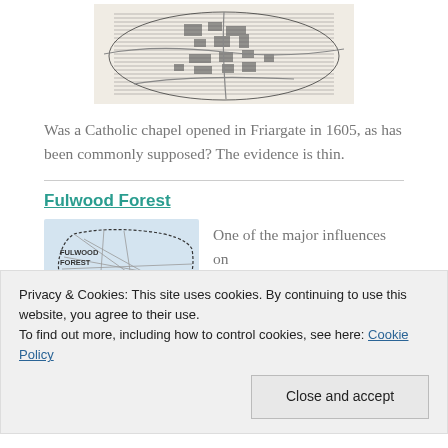[Figure (illustration): Black and white detailed map/illustration of a town or city, possibly a historical map, shown in the upper portion of the page.]
Was a Catholic chapel opened in Friargate in 1605, as has been commonly supposed? The evidence is thin.
Fulwood Forest
[Figure (map): A light blue-tinted map showing Fulwood Forest with dotted boundary lines and road/path network labeled 'FULWOOD FOREST'.]
One of the major influences on
Privacy & Cookies: This site uses cookies. By continuing to use this website, you agree to their use.
To find out more, including how to control cookies, see here: Cookie Policy
Close and accept